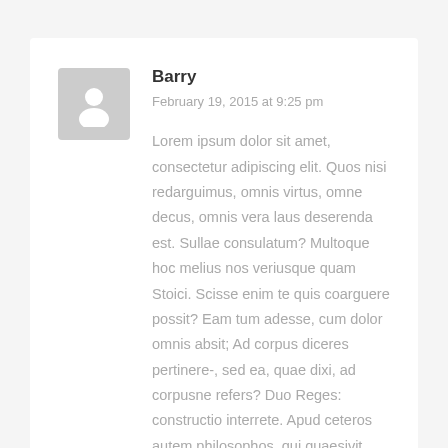[Figure (illustration): Gray avatar placeholder showing a person silhouette icon on a light gray rounded square background]
Barry
February 19, 2015 at 9:25 pm
Lorem ipsum dolor sit amet, consectetur adipiscing elit. Quos nisi redarguimus, omnis virtus, omne decus, omnis vera laus deserenda est. Sullae consulatum? Multoque hoc melius nos veriusque quam Stoici. Scisse enim te quis coarguere possit? Eam tum adesse, cum dolor omnis absit; Ad corpus diceres pertinere-, sed ea, quae dixi, ad corpusne refers? Duo Reges: constructio interrete. Apud ceteros autem philosophos, qui quaesivit aliquid, tacet;